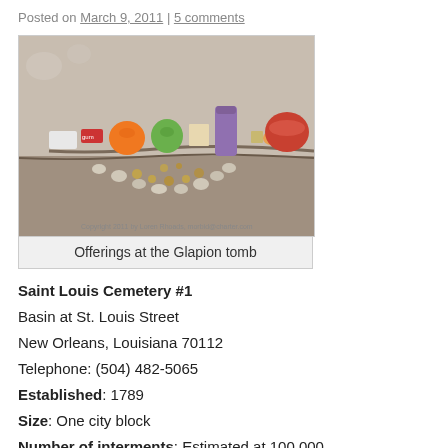Posted on March 9, 2011 | 5 comments
[Figure (photo): Photo of offerings at the Glapion tomb in Saint Louis Cemetery #1, showing fruits, candles, coins, and stones arranged against a stone wall.]
Offerings at the Glapion tomb
Saint Louis Cemetery #1
Basin at St. Louis Street
New Orleans, Louisiana 70112
Telephone: (504) 482-5065
Established: 1789
Size: One city block
Number of interments: Estimated at 100,000
Open: Monday through Friday 9 a.m. to 3 p.m.,